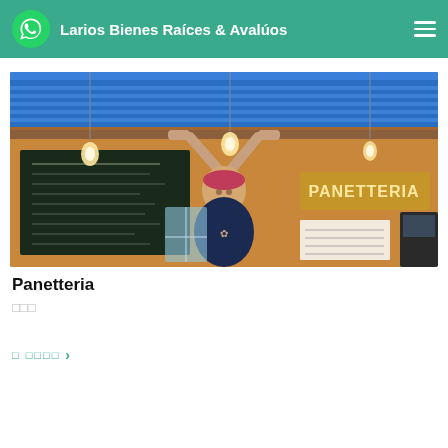Larios Bienes Raíces & Avalúos
[Figure (photo): Woman with arms raised holding up a blue rolling door at a bakery/cafe called Panetteria, with a chalkboard menu and warm Edison bulb lighting in the background]
Panetteria
𝅘𝅥𝅮𝅘𝅥𝅮𝅘𝅥𝅮
𝅘𝅥𝅮 𝅘𝅥𝅮𝅘𝅥𝅮𝅘𝅥𝅮 >